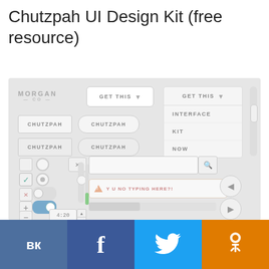Chutzpah UI Design Kit (free resource)
[Figure (screenshot): UI kit screenshot showing Morgan Co branding, buttons labeled CHUTZPAH in square and pill styles, dropdown menus, checkboxes, radio buttons, toggles, search box, alert message 'Y U NO TYPING HERE?!', navigation buttons, slider, and a time display showing 4:20]
[Figure (infographic): Social media share bar with VK, Facebook, Twitter, and Odnoklassniki icons on colored backgrounds: dark blue, dark blue, light blue, orange]